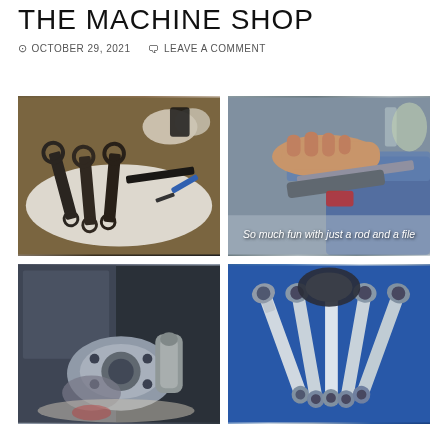THE MACHINE SHOP
OCTOBER 29, 2021   LEAVE A COMMENT
[Figure (photo): Connecting rods and engine parts laid out on a white cloth on a workbench]
[Figure (photo): Hand filing a connecting rod on a machine, with caption 'So much fun with just a rod and a file']
[Figure (photo): Machined metal flanged parts and toolholders in a dark machine shop setting]
[Figure (photo): Polished connecting rods fanned out against a blue background]